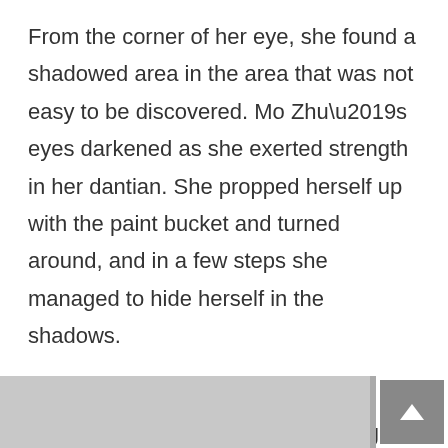From the corner of her eye, she found a shadowed area in the area that was not easy to be discovered. Mo Zhu’s eyes darkened as she exerted strength in her dantian. She propped herself up with the paint bucket and turned around, and in a few steps she managed to hide herself in the shadows.
Her gaze was cold as she observed the man in black who was fighting Jiang Yu. A bone-chilling coldness appeared on her beautiful face!